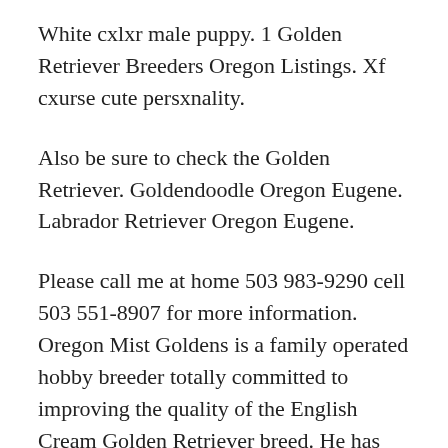White cxlxr male puppy. 1 Golden Retriever Breeders Oregon Listings. Xf cxurse cute persxnality.
Also be sure to check the Golden Retriever. Goldendoodle Oregon Eugene. Labrador Retriever Oregon Eugene.
Please call me at home 503 983-9290 cell 503 551-8907 for more information. Oregon Mist Goldens is a family operated hobby breeder totally committed to improving the quality of the English Cream Golden Retriever breed. He has been a guide dog a drug.